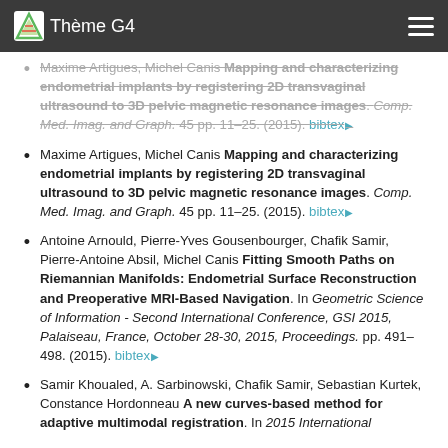Thème G4
Maxime Artigues, Michel Canis Mapping and characterizing endometrial implants by registering 2D transvaginal ultrasound to 3D pelvic magnetic resonance images. Comp. Med. Imag. and Graph. 45 pp. 11–25. (2015). bibtex
Antoine Arnould, Pierre-Yves Gousenbourger, Chafik Samir, Pierre-Antoine Absil, Michel Canis Fitting Smooth Paths on Riemannian Manifolds: Endometrial Surface Reconstruction and Preoperative MRI-Based Navigation. In Geometric Science of Information - Second International Conference, GSI 2015, Palaiseau, France, October 28-30, 2015, Proceedings. pp. 491–498. (2015). bibtex
Samir Khoualed, A. Sarbinowski, Chafik Samir, Sebastian Kurtek, Constance Hordonneau A new curves-based method for adaptive multimodal registration. In 2015 International